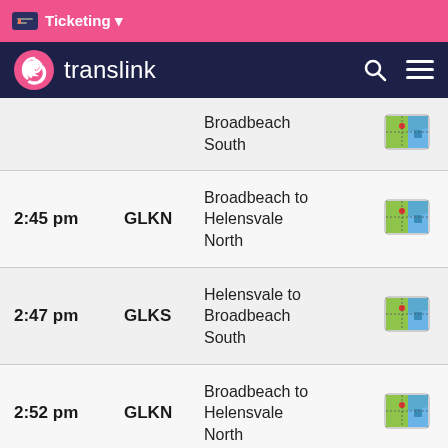Ticketing
translink
| Time | Code | Description | Map |
| --- | --- | --- | --- |
|  |  | Broadbeach South |  |
| 2:45 pm | GLKN | Broadbeach to Helensvale North |  |
| 2:47 pm | GLKS | Helensvale to Broadbeach South |  |
| 2:52 pm | GLKN | Broadbeach to Helensvale North |  |
| 2:55 pm | GLKS | Helensvale to |  |